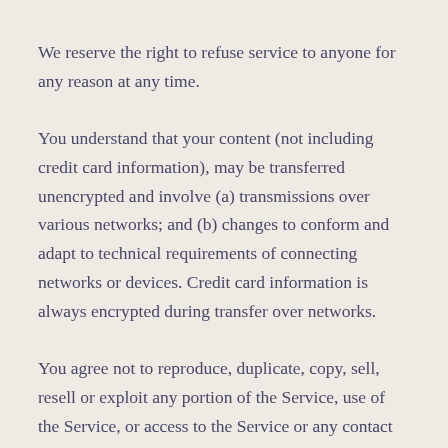We reserve the right to refuse service to anyone for any reason at any time.
You understand that your content (not including credit card information), may be transferred unencrypted and involve (a) transmissions over various networks; and (b) changes to conform and adapt to technical requirements of connecting networks or devices. Credit card information is always encrypted during transfer over networks.
You agree not to reproduce, duplicate, copy, sell, resell or exploit any portion of the Service, use of the Service, or access to the Service or any contact on the website through which the service is provided, without express written permission by us.